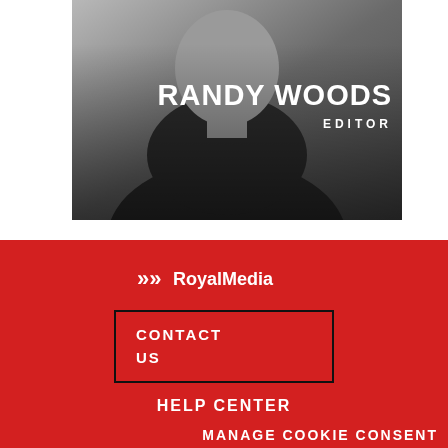[Figure (photo): Grayscale portrait photo of a man in a dark shirt, with name 'RANDY WOODS' and title 'EDITOR' overlaid in white text on the right side of the image.]
[Figure (logo): RoyalMedia logo in white on red background, with double chevron arrows preceding the text.]
CONTACT US
HELP CENTER
MANAGE COOKIE CONSENT